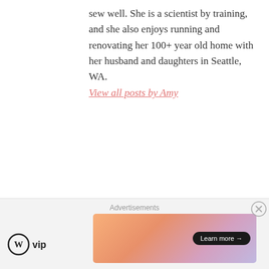sew well. She is a scientist by training, and she also enjoys running and renovating her 100+ year old home with her husband and daughters in Seattle, WA. View all posts by Amy
Like this:
Loading...
[Figure (infographic): Gray arrow banner tag with text READY-TO-WEAR TAILORING SEW-ALONG]
[Figure (infographic): Gray arrow banner tag with text SIMPLICITY 6967]
[Figure (infographic): Advertisement bar with WordPress VIP logo and a colorful gradient banner with Learn more button and close X button]